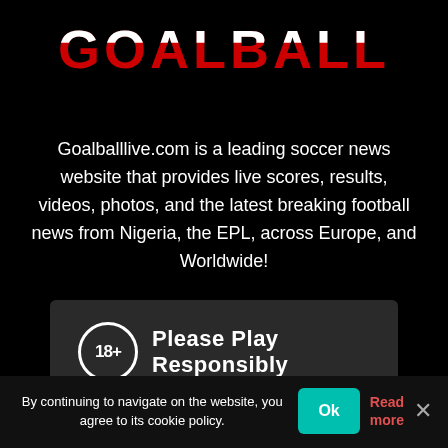GOALBALL
Goalballlive.com is a leading soccer news website that provides live scores, results, videos, photos, and the latest breaking football news from Nigeria, the EPL, across Europe, and Worldwide!
[Figure (infographic): 18+ Please Play Responsibly banner with GAM STOP logo on dark background]
By continuing to navigate on the website, you agree to its cookie policy.